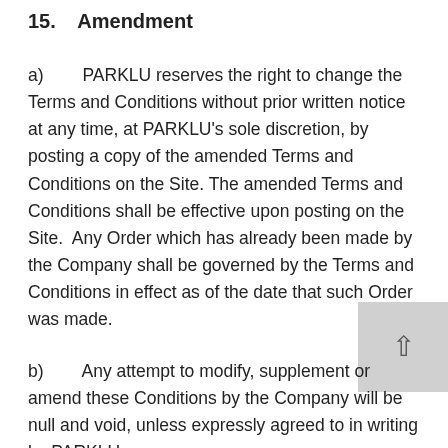15.   Amendment
a)   PARKLU reserves the right to change the Terms and Conditions without prior written notice at any time, at PARKLU’s sole discretion, by posting a copy of the amended Terms and Conditions on the Site. The amended Terms and Conditions shall be effective upon posting on the Site.  Any Order which has already been made by the Company shall be governed by the Terms and Conditions in effect as of the date that such Order was made.
b)   Any attempt to modify, supplement or amend these Conditions by the Company will be null and void, unless expressly agreed to in writing by PARKLU.